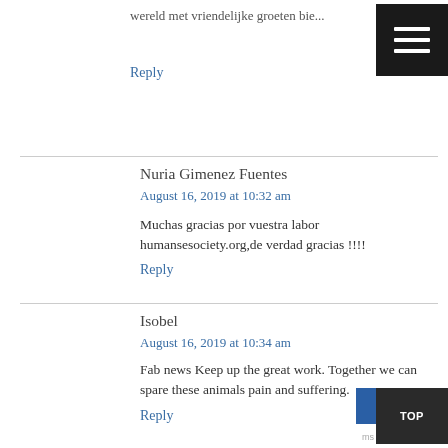wereld met vriendelijke groeten bie...
Reply
Nuria Gimenez Fuentes
August 16, 2019 at 10:32 am
Muchas gracias por vuestra labor humansesociety.org,de verdad gracias !!!!
Reply
Isobel
August 16, 2019 at 10:34 am
Fab news Keep up the great work. Together we can spare these animals pain and suffering.
Reply